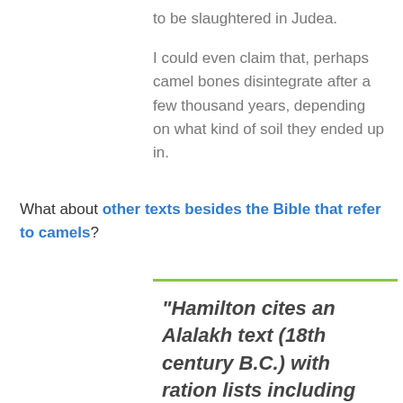to be slaughtered in Judea.
I could even claim that, perhaps camel bones disintegrate after a few thousand years, depending on what kind of soil they ended up in.
What about other texts besides the Bible that refer to camels?
“Hamilton cites an Alalakh text (18th century B.C.) with ration lists including that of "one